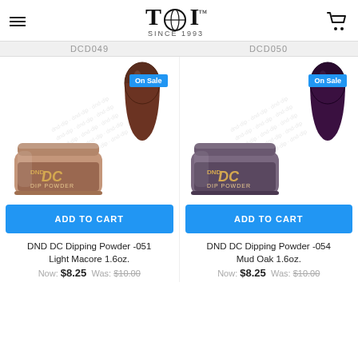TDI™ SINCE 1993
DCD049   DCD050
[Figure (photo): DND DC Dip Powder jar #051 Light Macore (brown) with nail swatch showing brown color, On Sale badge]
ADD TO CART
DND DC Dipping Powder -051 Light Macore 1.6oz.
Now: $8.25  Was: $10.00
[Figure (photo): DND DC Dip Powder jar #054 Mud Oak (dark purple) with nail swatch showing dark purple color, On Sale badge]
ADD TO CART
DND DC Dipping Powder -054 Mud Oak 1.6oz.
Now: $8.25  Was: $10.00